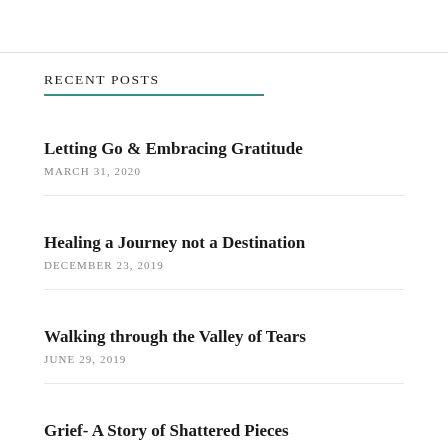RECENT POSTS
Letting Go & Embracing Gratitude
MARCH 31, 2020
Healing a Journey not a Destination
DECEMBER 23, 2019
Walking through the Valley of Tears
JUNE 29, 2019
Grief- A Story of Shattered Pieces
MAY 29, 2019